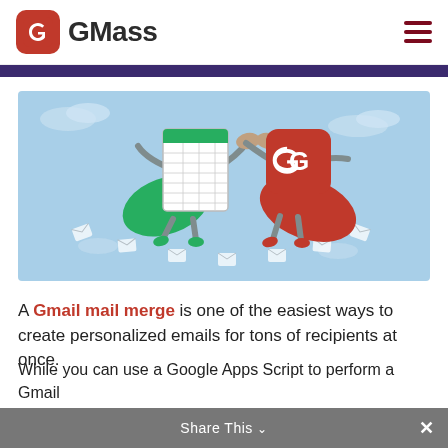GMass
[Figure (illustration): Illustrated characters: a Google Sheets document and a GMass red icon app, styled as superheroes holding hands, surrounded by email envelopes, on a light blue background.]
A Gmail mail merge is one of the easiest ways to create personalized emails for tons of recipients at once.
While you can use a Google Apps Script to perform a Gmail
Share This